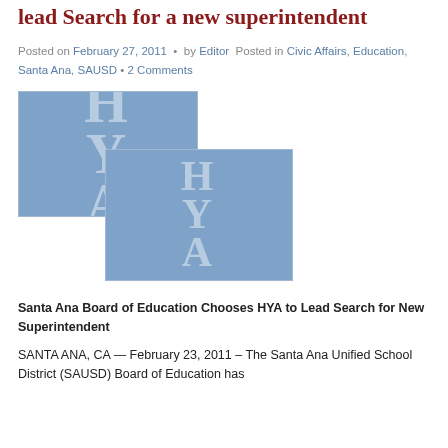lead Search for a new superintendent
Posted on February 27, 2011 • by Editor Posted in Civic Affairs, Education, Santa Ana, SAUSD • 2 Comments
[Figure (logo): HYA logo — two overlapping blue rectangular images each showing the letters HYA in large light text on a steel-blue background]
Santa Ana Board of Education Chooses HYA to Lead Search for New Superintendent
SANTA ANA, CA — February 23, 2011 – The Santa Ana Unified School District (SAUSD) Board of Education has